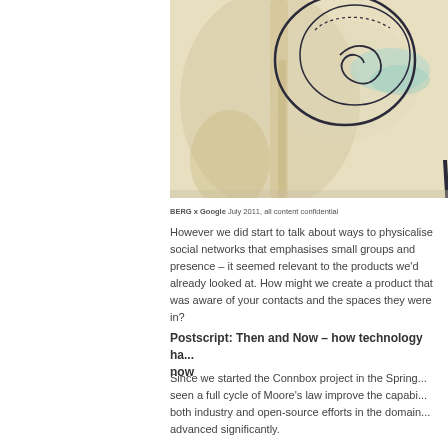[Figure (illustration): Partial illustration showing abstract line drawing with circular forms on a beige/tan watercolor background, cropped at top and right edges.]
BERG x Google July 2011, all content confidential
However we did start to talk about ways to physicalise social networks that emphasises small groups and presence – it seemed relevant to the products we'd already looked at. How might we create a product that was aware of your contacts and the spaces they were in?
Postscript: Then and Now – how technology ha... now
Since we started the Connbox project in the Spring... seen a full cycle of Moore's law improve the capabi... both industry and open-source efforts in the domain... advanced significantly.